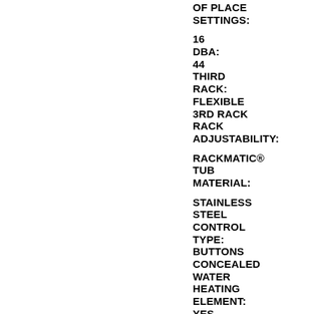OF PLACE SETTINGS: 16 DBA: 44 THIRD RACK: FLEXIBLE 3RD RACK RACK ADJUSTABILITY: RACKMATIC® TUB MATERIAL: STAINLESS STEEL CONTROL TYPE: BUTTONS CONCEALED WATER HEATING ELEMENT: YES